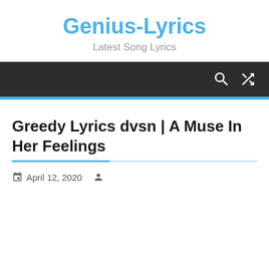Genius-Lyrics
Latest Song Lyrics
Greedy Lyrics dvsn | A Muse In Her Feelings
April 12, 2020